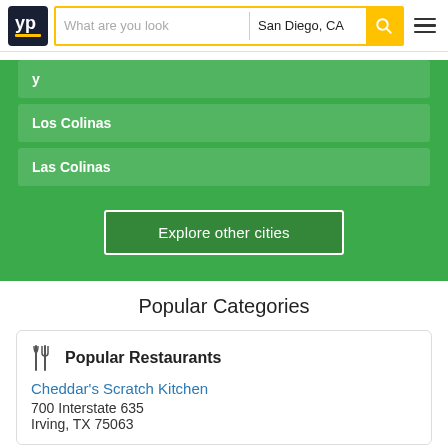YP | What are you looking for | San Diego, CA
y...
Los Colinas
Las Colinas
Explore other cities
Popular Categories
Popular Restaurants
Cheddar's Scratch Kitchen
700 Interstate 635
Irving, TX 75063